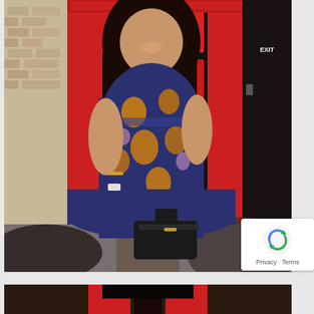[Figure (photo): A plus-size woman wearing a navy blue floral maxi dress with orange and pink flowers, standing in front of a red British telephone booth. She has long dark hair, is smiling, and holds a black handbag at her feet. Background shows brick wall and dark door with EXIT sign.]
[Figure (photo): Partial view of a second photo showing what appears to be similar red telephone booth backdrop, partially cropped at bottom of page.]